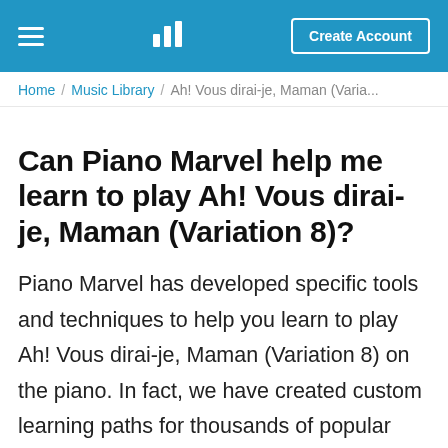Piano Marvel — Create Account
Home / Music Library / Ah! Vous dirai-je, Maman (Varia...
Can Piano Marvel help me learn to play Ah! Vous dirai-je, Maman (Variation 8)?
Piano Marvel has developed specific tools and techniques to help you learn to play Ah! Vous dirai-je, Maman (Variation 8) on the piano. In fact, we have created custom learning paths for thousands of popular piano songs! Most of the songs you will find in